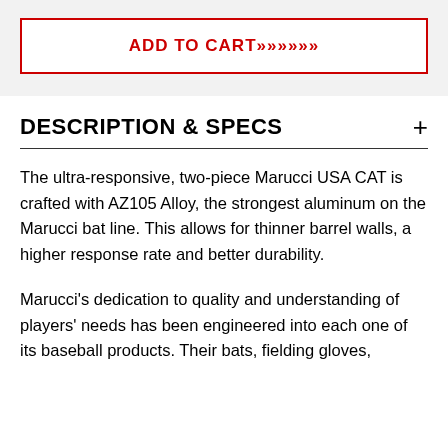[Figure (other): Add to Cart button with red border and bold red uppercase text reading 'ADD TO CART' followed by chevron arrows, on a light gray background]
DESCRIPTION & SPECS
The ultra-responsive, two-piece Marucci USA CAT is crafted with AZ105 Alloy, the strongest aluminum on the Marucci bat line. This allows for thinner barrel walls, a higher response rate and better durability.
Marucci's dedication to quality and understanding of players' needs has been engineered into each one of its baseball products. Their bats, fielding gloves,